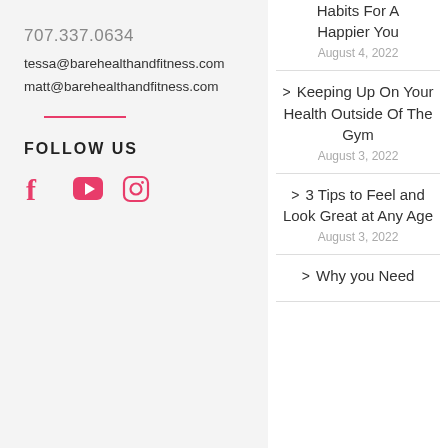707.337.0634
tessa@barehealthandfitness.com
matt@barehealthandfitness.com
FOLLOW US
[Figure (other): Social media icons: Facebook, YouTube, Instagram]
Habits For A Happier You
August 4, 2022
> Keeping Up On Your Health Outside Of The Gym
August 3, 2022
> 3 Tips to Feel and Look Great at Any Age
August 3, 2022
> Why you Need...